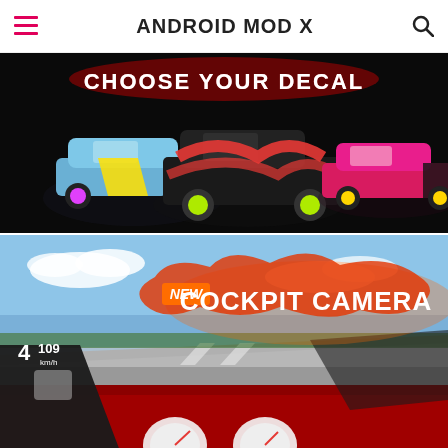ANDROID MOD X
[Figure (screenshot): Game screenshot showing 'CHOOSE YOUR DECAL' screen with three customized cars on a dark background: a blue/yellow car on the left, a red/black car in the center, and a pink/black car on the right.]
[Figure (screenshot): Game screenshot showing cockpit camera view inside a red car on a race track, with 'NEW COCKPIT CAMERA' text overlay on an orange splat background. Speed gauge shows 4th gear and 109 km/h.]
Download Drift Max